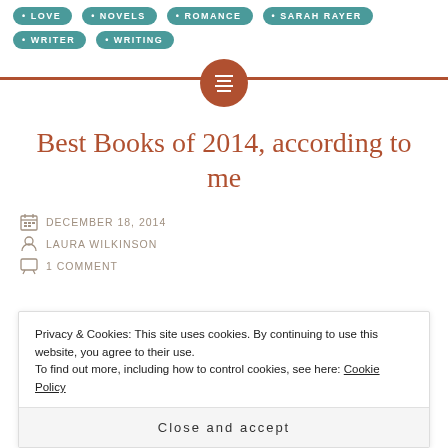LOVE
NOVELS
ROMANCE
SARAH RAYER
WRITER
WRITING
Best Books of 2014, according to me
DECEMBER 18, 2014
LAURA WILKINSON
1 COMMENT
Privacy & Cookies: This site uses cookies. By continuing to use this website, you agree to their use.
To find out more, including how to control cookies, see here: Cookie Policy
Close and accept